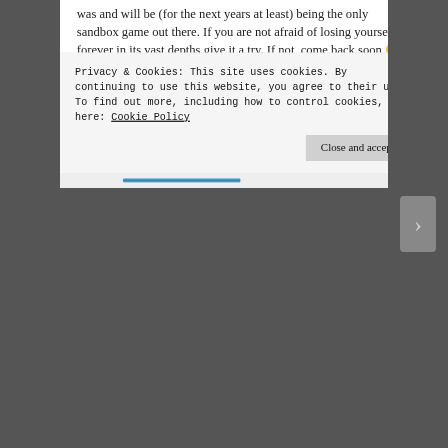was and will be (for the next years at least) being the only sandbox game out there. If you are not afraid of losing yourself forever in its vast depths give it a try. If not, come back soon 🙂
★ Like
Log in to Reply
Isarii  March 24, 2014 at 5:00 pm
Hey Laender,
Privacy & Cookies: This site uses cookies. By continuing to use this website, you agree to their use.
To find out more, including how to control cookies, see here: Cookie Policy
Close and accept